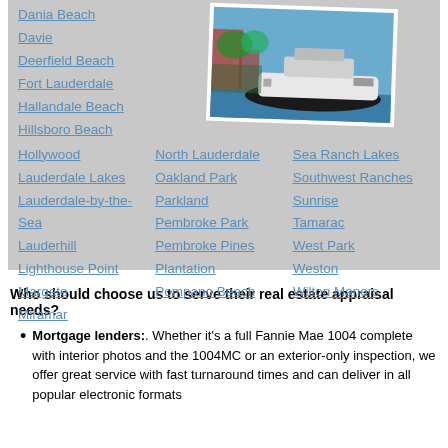Dania Beach
Davie
Deerfield Beach
Fort Lauderdale
Hallandale Beach
Hillsboro Beach
[Figure (photo): Aerial or waterfront photo of a large yacht/boat on water with buildings in background]
Hollywood
North Lauderdale
Sea Ranch Lakes
Lauderdale Lakes
Oakland Park
Southwest Ranches
Lauderdale-by-the-Sea
Parkland
Sunrise
Pembroke Park
Tamarac
Lauderhill
Pembroke Pines
West Park
Lighthouse Point
Plantation
Weston
Margate
Pompano Beach
Wilton Manors
Miramar
Who should choose us to serve their real estate appraisal needs?
Mortgage lenders:. Whether it's a full Fannie Mae 1004 complete with interior photos and the 1004MC or an exterior-only inspection, we offer great service with fast turnaround times and can deliver in all popular electronic formats